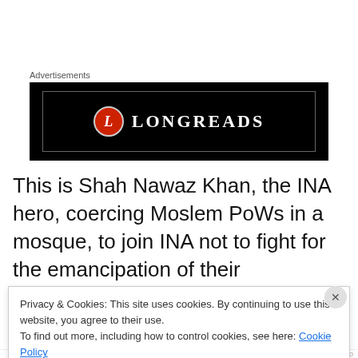Advertisements
[Figure (logo): LONGREADS advertisement banner — black background with red circle L logo and white text LONGREADS]
This is Shah Nawaz Khan, the INA hero, coercing Moslem PoWs in a mosque, to join INA not to fight for the emancipation of their motherland or to serve the cause of the Indian liberation, but to empower Moslems against the Hindu-Sikh soldiers!. And in his own statement during the
Privacy & Cookies: This site uses cookies. By continuing to use this website, you agree to their use.
To find out more, including how to control cookies, see here: Cookie Policy
Close and accept